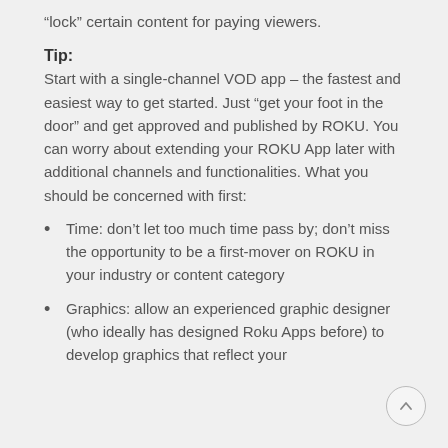“lock” certain content for paying viewers.
Tip:
Start with a single-channel VOD app – the fastest and easiest way to get started. Just “get your foot in the door” and get approved and published by ROKU. You can worry about extending your ROKU App later with additional channels and functionalities. What you should be concerned with first:
Time: don’t let too much time pass by; don’t miss the opportunity to be a first-mover on ROKU in your industry or content category
Graphics: allow an experienced graphic designer (who ideally has designed Roku Apps before) to develop graphics that reflect your